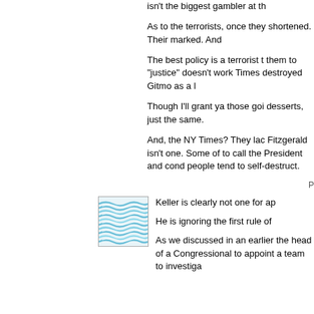isn't the biggest gambler at th
As to the terrorists, once they shortened. Their marked. And
The best policy is a terrorist t them to "justice" doesn't work Times destroyed Gitmo as a l
Though I'll grant ya those goi desserts, just the same.
And, the NY Times? They lac Fitzgerald isn't one. Some of to call the President and cond people tend to self-destruct.
P
[Figure (illustration): A square thumbnail image showing wavy blue and white lines resembling water or fabric texture]
Keller is clearly not one for ap
He is ignoring the first rule of
As we discussed in an earlier the head of a Congressional to appoint a team to investiga